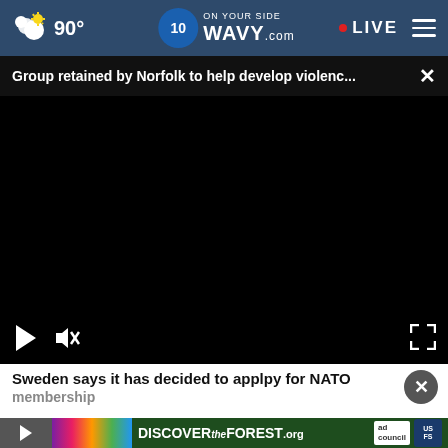90° WAVY.com ON YOUR SIDE LIVE
Group retained by Norfolk to help develop violenc... ×
[Figure (screenshot): Black video player area with play button, mute button, and fullscreen icon]
Sweden says it has decided to applpy for NATO membership
[Figure (photo): DISCOVERtheFOREST.org advertisement banner with colorful forest imagery and Ad Council / US Forest Service badges]